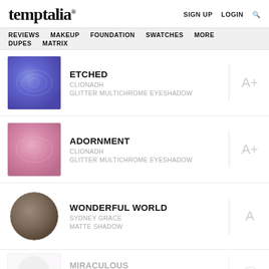temptalia® | SIGN UP | LOGIN | 🔍
REVIEWS | MAKEUP | FOUNDATION | SWATCHES | MORE | DUPES | MATRIX
ETCHED
CLIONADH
GLITTER MULTICHROME EYESHADOW
A+
ADORNMENT
CLIONADH
GLITTER MULTICHROME EYESHADOW
A+
WONDERFUL WORLD
SYDNEY GRACE
MATTE SHADOW
A
MIRACULOUS
SYDNEY GRACE
MATTE SHADOW
A